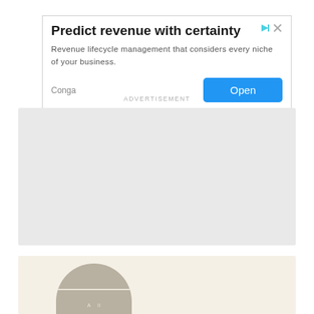[Figure (screenshot): Advertisement banner for Conga: 'Predict revenue with certainty' with subtitle 'Revenue lifecycle management that considers every niche of your business.' Brand label 'Conga' on left, blue 'Open' button on right.]
ADVERTISEMENT
[Figure (other): Large gray placeholder block representing an advertisement content area.]
[Figure (other): Cream/beige background block with a gray semi-circle shape and small text at the bottom, partially visible.]